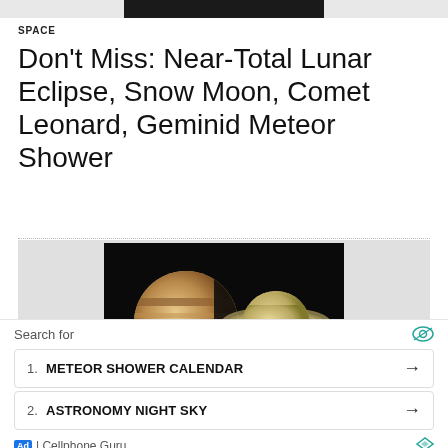[Figure (photo): Partial top strip showing edge of a dark astronomical image]
SPACE
Don't Miss: Near-Total Lunar Eclipse, Snow Moon, Comet Leonard, Geminid Meteor Shower
[Figure (photo): Jupiter and Saturn side by side against black background]
SPACE
Geminid Meteor Shower, Jupiter and Saturn Meet Up, and Other
Search for
1. METEOR SHOWER CALENDAR →
2. ASTRONOMY NIGHT SKY →
Ad | Cellphone Guru